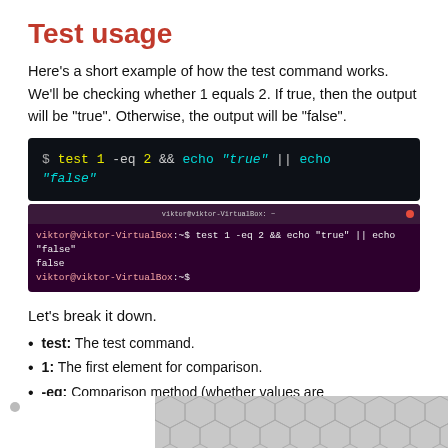Test usage
Here’s a short example of how the test command works. We’ll be checking whether 1 equals 2. If true, then the output will be “true”. Otherwise, the output will be “false”.
[Figure (screenshot): Dark terminal code block showing: $ test 1 -eq 2 && echo “true” || echo “false”]
[Figure (screenshot): Ubuntu terminal screenshot showing command: viktor@viktor-VirtualBox:~$ test 1 -eq 2 && echo "true" || echo "false", output: false, then prompt again]
Let’s break it down.
test: The test command.
1: The first element for comparison.
-eq: Comparison method (whether values are